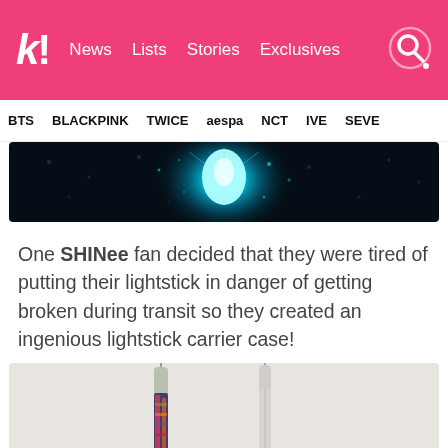k! News Lists Stories Exclusives
BTS BLACKPINK TWICE aespa NCT IVE SEVE
[Figure (photo): Concert photo with teal/blue glowing light effect on dark background]
One SHINee fan decided that they were tired of putting their lightstick in danger of getting broken during transit so they created an ingenious lightstick carrier case!
[Figure (photo): Two SHINee lightsticks with decorative carrier cases, photographed against a light background]